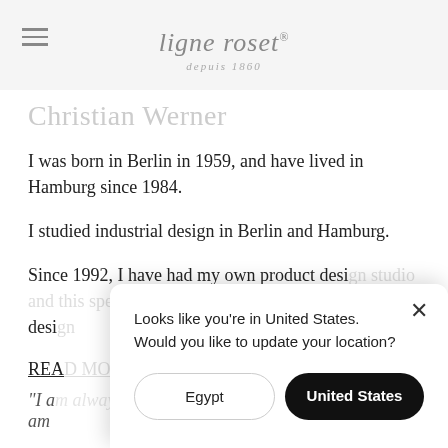ligne roset
depuis 1860
Christian Werner
I was born in Berlin in 1959, and have lived in Hamburg since 1984.
I studied industrial design in Berlin and Hamburg.
Since 1992, I have had my own product design studio, and this speciality, I design…
READ
“I a… am
Looks like you're in United States. Would you like to update your location?
Egypt
United States